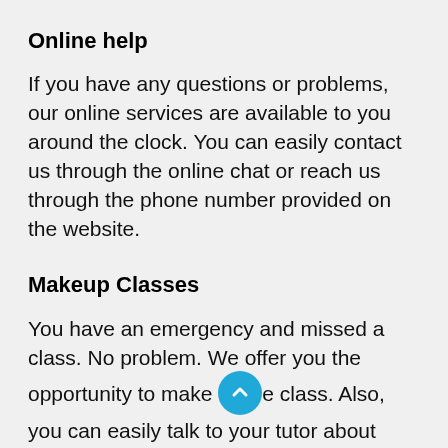Online help
If you have any questions or problems, our online services are available to you around the clock. You can easily contact us through the online chat or reach us through the phone number provided on the website.
Makeup Classes
You have an emergency and missed a class. No problem. We offer you the opportunity to make up the class. Also, you can easily talk to your tutor about your class and reschedule it for another